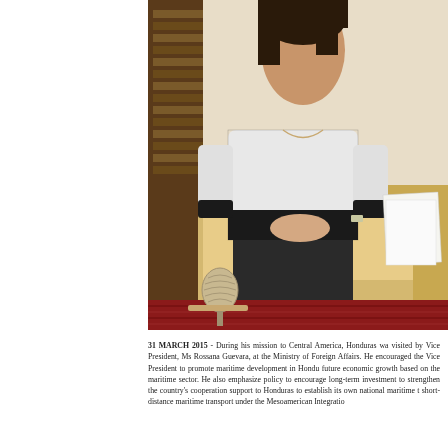[Figure (photo): A woman in a black and white patterned top and dark pants sits on a gold/cream upholstered sofa or settee. She has her hands clasped in her lap and wears a watch. Behind her is a dark wooden bookcase. On the floor in front is an ornamental carved stone or ceramic object. To her right on the sofa are some white papers. The floor has a red patterned rug.]
31 MARCH 2015 - During his mission to Central America, Honduras was visited by Vice President, Ms Rossana Guevara, at the Ministry of Foreign Affairs. He encouraged the Vice President to promote maritime development in Honduras for future economic growth based on the maritime sector. He also emphasized the policy to encourage long-term investment to strengthen the country's cooperation support to Honduras to establish its own national maritime t short-distance maritime transport under the Mesoamerican Integration...